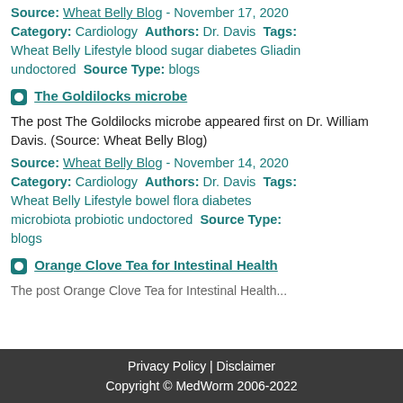Source: Wheat Belly Blog - November 17, 2020 Category: Cardiology Authors: Dr. Davis Tags: Wheat Belly Lifestyle blood sugar diabetes Gliadin undoctored Source Type: blogs
The Goldilocks microbe
The post The Goldilocks microbe appeared first on Dr. William Davis. (Source: Wheat Belly Blog)
Source: Wheat Belly Blog - November 14, 2020 Category: Cardiology Authors: Dr. Davis Tags: Wheat Belly Lifestyle bowel flora diabetes microbiota probiotic undoctored Source Type: blogs
Orange Clove Tea for Intestinal Health
Privacy Policy | Disclaimer
Copyright © MedWorm 2006-2022